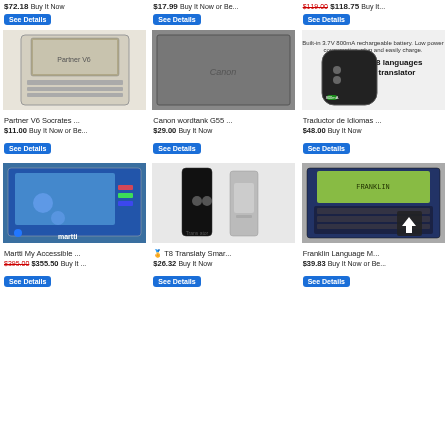$72.18 Buy It Now
$17.99 Buy It Now or Be...
$119.00 $118.75 Buy It...
[Figure (other): See Details button row 1]
[Figure (photo): Partner V6 Socrates electronic dictionary device]
[Figure (photo): Canon wordtank G55 electronic dictionary device]
[Figure (photo): Traductor de Idiomas 68 languages translator device]
Partner V6 Socrates ...
$11.00 Buy It Now or Be...
Canon wordtank G55 ...
$29.00 Buy It Now
Traductor de Idiomas ...
$48.00 Buy It Now
[Figure (photo): Martti My Accessible device with blue screen]
[Figure (photo): T8 Translaty Smart translator device]
[Figure (photo): Franklin Language Master device]
Martti My Accessible ...
$395.00 $355.50 Buy It...
T8 Translaty Smar...
$26.32 Buy It Now
Franklin Language M...
$39.83 Buy It Now or Be...